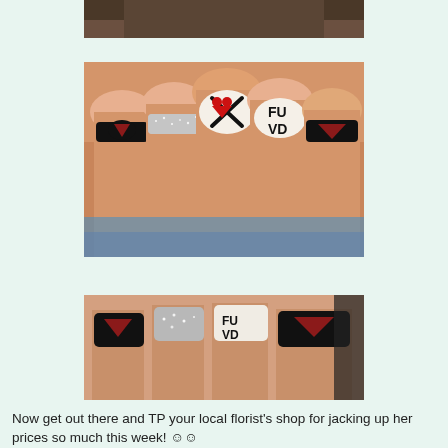[Figure (photo): Partial view of a hand with decorative nail art, cropped at top]
[Figure (photo): Close-up photo of a fist showing decorative nail art with black nails featuring red hearts, a silver glitter nail, a white nail with black X and red hearts, and a white nail with 'FU VD' written in black]
[Figure (photo): Close-up photo of toes/fingers showing similar nail art: black nails with red hearts, silver glitter nail, white nail with 'FU VD' text]
Now get out there and TP your local florist's shop for jacking up her prices so much this week! ☺☺